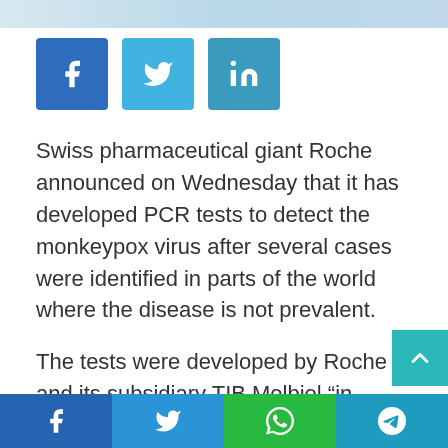[Figure (photo): Top portion of a news article image, partially visible at the top of the page]
[Figure (infographic): Social share buttons: Facebook (blue), Twitter (light blue), LinkedIn (teal)]
Swiss pharmaceutical giant Roche announced on Wednesday that it has developed PCR tests to detect the monkeypox virus after several cases were identified in parts of the world where the disease is not prevalent.
The tests were developed by Roche and its subsidiary TIB Molbiol “in response to cases of monkeypox virus infection that have recently raised concerns,” he said in a press release.
[Figure (infographic): Bottom social sharing bar with Facebook, Twitter, WhatsApp, and Telegram icons]